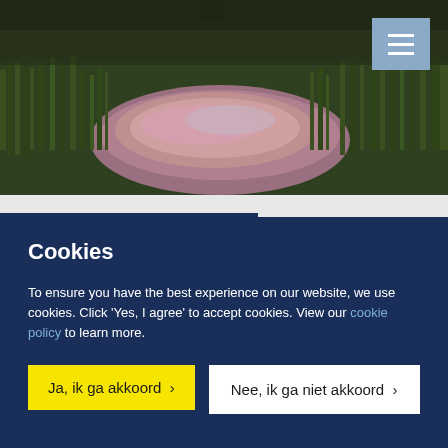[Figure (photo): Aerial/ground-level photo of a wetland or marsh with green grasses and reeds surrounding a reflective pool of water showing pink and blue sky reflections at dusk or dawn.]
Cookies
To ensure you have the best experience on our website, we use cookies. Click ‘Yes, I agree’ to accept cookies. View our cookie policy to learn more.
Ja, ik ga akkoord >
Nee, ik ga niet akkoord >